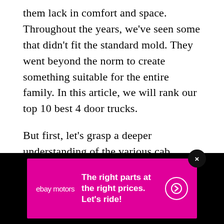them lack in comfort and space. Throughout the years, we've seen some that didn't fit the standard mold. They went beyond the norm to create something suitable for the entire family. In this article, we will rank our top 10 best 4 door trucks.
But first, let's grasp a deeper understanding of the various cab configurations you can choose from.
Cab Configurations
[Figure (other): eBay Motors advertisement banner on black background. Magenta/pink rectangle with eBay Motors logo on left, bold white text 'The right parts at the right prices. Let's ride!' in center, white circle arrow button on right. Close button (x) in dark circle at top right of ad.]